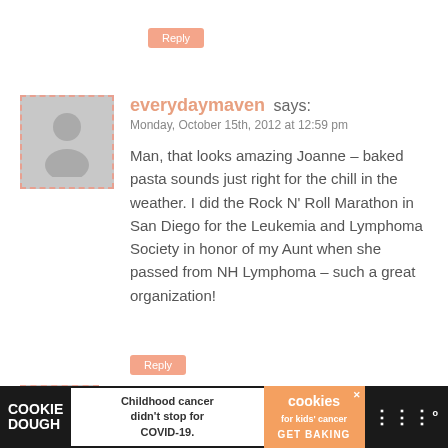Reply
everydaymaven says:
Monday, October 15th, 2012 at 12:59 pm
Man, that looks amazing Joanne – baked pasta sounds just right for the chill in the weather. I did the Rock N' Roll Marathon in San Diego for the Leukemia and Lymphoma Society in honor of my Aunt when she passed from NH Lymphoma – such a great organization!
Reply
Bianca @ Confessions of a
Childhood cancer didn't stop for COVID-19.
COOKIE DOUGH
cookies for kids' cancer GET BAKING